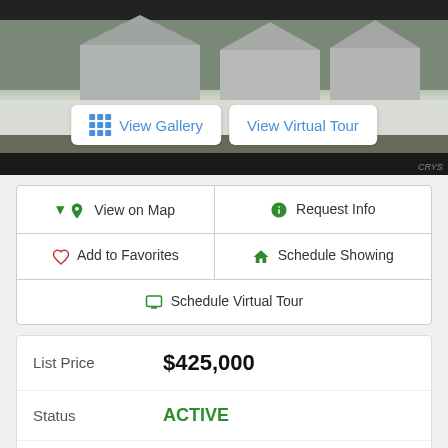[Figure (photo): Exterior photo of a new construction house with snow on the ground, taken in winter. Building has Tyvek wrap visible.]
View Gallery
View Virtual Tour
| 📍 View on Map | ℹ Request Info |
| ♡ Add to Favorites | 🏠 Schedule Showing |
| 🖥 Schedule Virtual Tour |  |
List Price
$425,000
Status
ACTIVE
MLS#
NYS-S1396814
Year Built
2021